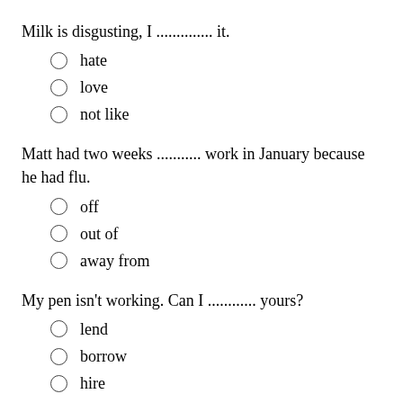Milk is disgusting, I .............. it.
hate
love
not like
Matt had two weeks ........... work in January because he had flu.
off
out of
away from
My pen isn't working. Can I ............ yours?
lend
borrow
hire